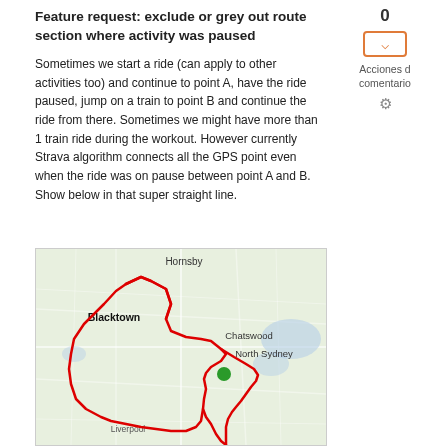0
[Figure (other): Orange vote/dropdown button with chevron down icon]
Acciones d comentario
⚙
Feature request: exclude or grey out route section where activity was paused
Sometimes we start a ride (can apply to other activities too) and continue to point A, have the ride paused, jump on a train to point B and continue the ride from there. Sometimes we might have more than 1 train ride during the workout. However currently Strava algorithm connects all the GPS point even when the ride was on pause between point A and B. Show below in that super straight line.
[Figure (map): Map of Sydney area showing a red GPS route line around Blacktown, North Sydney, Chatswood, and Liverpool areas with a green dot marker near North Sydney]